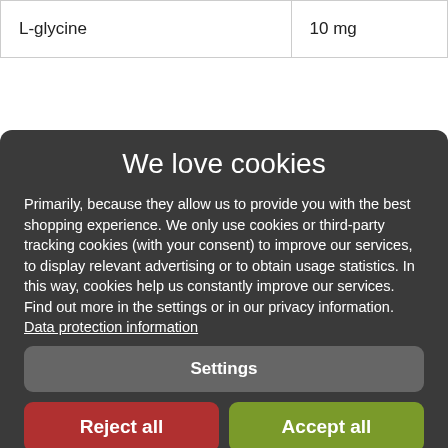| L-glycine | 10 mg |
We love cookies
Primarily, because they allow us to provide you with the best shopping experience. We only use cookies or third-party tracking cookies (with your consent) to improve our services, to display relevant advertising or to obtain usage statistics. In this way, cookies help us constantly improve our services. Find out more in the settings or in our privacy information. Data protection information
Settings
Reject all
Accept all